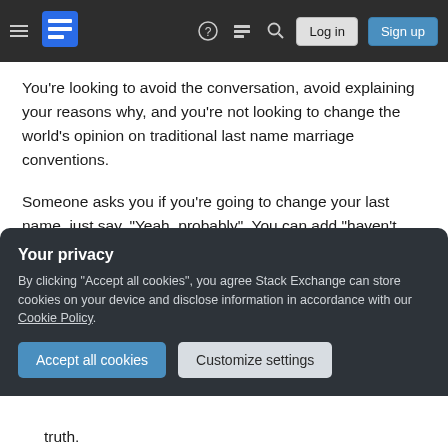Stack Exchange navigation bar with hamburger menu, logo, help, chat, search icons, Log in and Sign up buttons
You're looking to avoid the conversation, avoid explaining your reasons why, and you're not looking to change the world's opinion on traditional last name marriage conventions.
Someone asks you if you're going to change your last name, just say, "Yeah, probably". You can add "haven't given it much thought" to make them think that you don't really care about the subject and don't want to be bored with a conversation about it.
Your privacy
By clicking "Accept all cookies", you agree Stack Exchange can store cookies on your device and disclose information in accordance with our Cookie Policy.
Accept all cookies  Customize settings
truth.